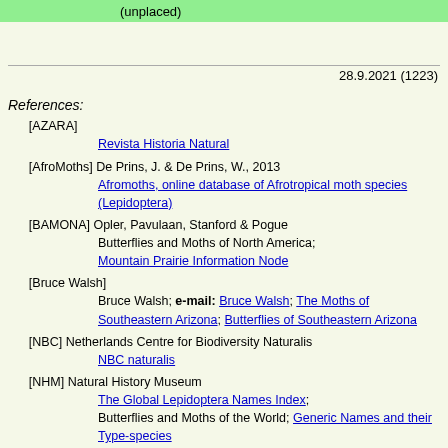(unplaced)
28.9.2021 (1223)
References:
[AZARA] Revista Historia Natural
[AfroMoths] De Prins, J. & De Prins, W., 2013 Afromoths, online database of Afrotropical moth species (Lepidoptera)
[BAMONA] Opler, Pavulaan, Stanford & Pogue Butterflies and Moths of North America; Mountain Prairie Information Node
[Bruce Walsh] Bruce Walsh; e-mail: Bruce Walsh; The Moths of Southeastern Arizona; Butterflies of Southeastern Arizona
[NBC] Netherlands Centre for Biodiversity Naturalis NBC naturalis
[NHM] Natural History Museum The Global Lepidoptera Names Index; Butterflies and Moths of the World; Generic Names and their Type-species
[SZMN] Lepidoptera